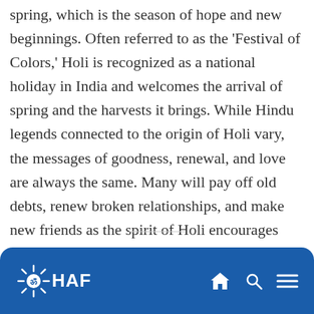spring, which is the season of hope and new beginnings. Often referred to as the 'Festival of Colors,' Holi is recognized as a national holiday in India and welcomes the arrival of spring and the harvests it brings. While Hindu legends connected to the origin of Holi vary, the messages of goodness, renewal, and love are always the same. Many will pay off old debts, renew broken relationships, and make new friends as the spirit of Holi encourages harmony and new beginnings.
HAF [Om logo] [home icon] [search icon] [menu icon]